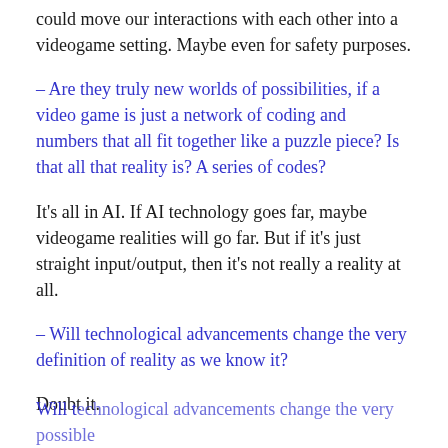could move our interactions with each other into a videogame setting. Maybe even for safety purposes.
– Are they truly new worlds of possibilities, if a video game is just a network of coding and numbers that all fit together like a puzzle piece? Is that all that reality is? A series of codes?
It's all in AI. If AI technology goes far, maybe videogame realities will go far. But if it's just straight input/output, then it's not really a reality at all.
– Will technological advancements change the very definition of reality as we know it?
Doubt it.
Will technological advancements change the very possible